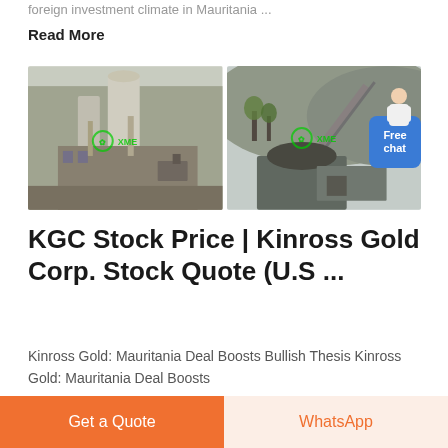foreign investment climate in Mauritania ...
Read More
[Figure (photo): Two industrial mining/cement facility photos side by side, both watermarked with XME logo in green]
KGC Stock Price | Kinross Gold Corp. Stock Quote (U.S ...
Kinross Gold: Mauritania Deal Boosts Bullish Thesis Kinross Gold: Mauritania Deal Boosts
Get a Quote
WhatsApp